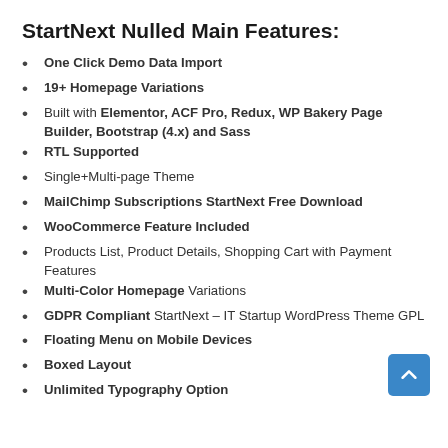StartNext Nulled Main Features:
One Click Demo Data Import
19+ Homepage Variations
Built with Elementor, ACF Pro, Redux, WP Bakery Page Builder, Bootstrap (4.x) and Sass
RTL Supported
Single+Multi-page Theme
MailChimp Subscriptions StartNext Free Download
WooCommerce Feature Included
Products List, Product Details, Shopping Cart with Payment Features
Multi-Color Homepage Variations
GDPR Compliant StartNext – IT Startup WordPress Theme GPL
Floating Menu on Mobile Devices
Boxed Layout
Unlimited Typography Option